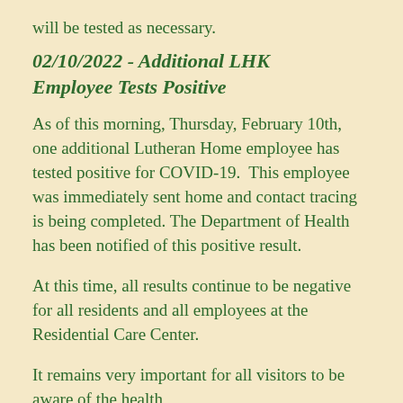will be tested as necessary.
02/10/2022 - Additional LHK Employee Tests Positive
As of this morning, Thursday, February 10th, one additional Lutheran Home employee has tested positive for COVID-19. This employee was immediately sent home and contact tracing is being completed. The Department of Health has been notified of this positive result.
At this time, all results continue to be negative for all residents and all employees at the Residential Care Center.
It remains very important for all visitors to be aware of the health...